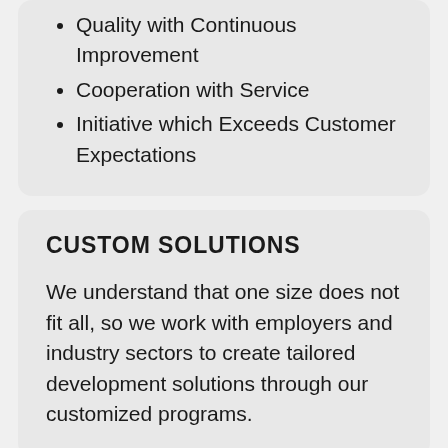Quality with Continuous Improvement
Cooperation with Service
Initiative which Exceeds Customer Expectations
CUSTOM SOLUTIONS
We understand that one size does not fit all, so we work with employers and industry sectors to create tailored development solutions through our customized programs.